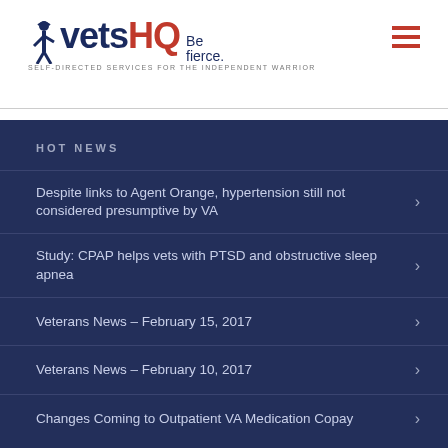[Figure (logo): VetsHQ logo with soldier silhouette, 'vets' in dark navy, 'HQ' in red, 'Be fierce.' tagline, and 'SELF-DIRECTED SERVICES FOR THE INDEPENDENT WARRIOR' subtext]
HOT NEWS
Despite links to Agent Orange, hypertension still not considered presumptive by VA
Study: CPAP helps vets with PTSD and obstructive sleep apnea
Veterans News – February 15, 2017
Veterans News – February 10, 2017
Changes Coming to Outpatient VA Medication Copay